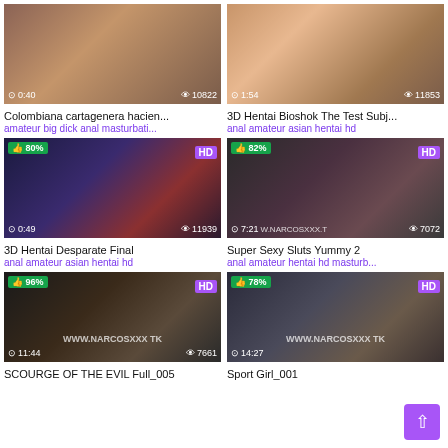[Figure (screenshot): Video thumbnail grid showing adult video thumbnails with titles and tags]
Colombiana cartagenera hacien...
amateur big dick anal masturbati...
3D Hentai Bioshok The Test Subj...
anal amateur asian hentai hd
3D Hentai Desparate Final
anal amateur asian hentai hd
Super Sexy Sluts Yummy 2
anal amateur hentai hd masturb...
SCOURGE OF THE EVIL Full_005
Sport Girl_001